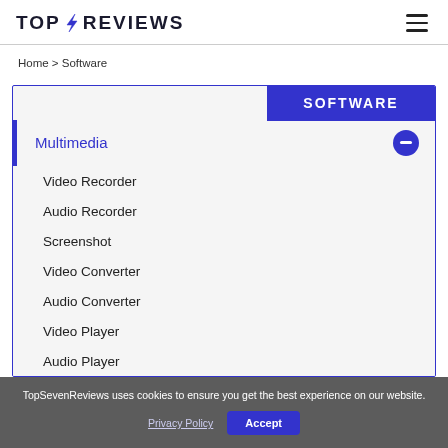TOP 4 REVIEWS
Home > Software
SOFTWARE
Multimedia
Video Recorder
Audio Recorder
Screenshot
Video Converter
Audio Converter
Video Player
Audio Player
TopSevenReviews uses cookies to ensure you get the best experience on our website. Privacy Policy  Accept